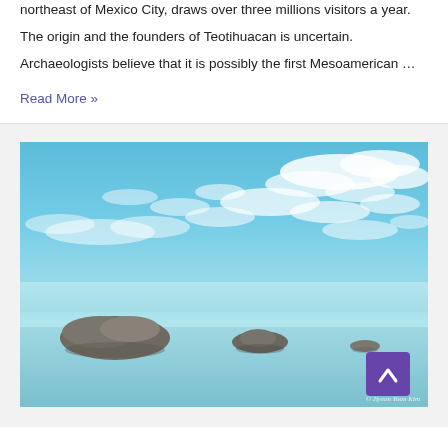northeast of Mexico City, draws over three millions visitors a year.
The origin and the founders of Teotihuacan is uncertain.
Archaeologists believe that it is possibly the first Mesoamerican …
Read More »
[Figure (photo): Aerial or wide-angle photo of a turquoise bay or lake with small rocky islands under a bright blue sky with scattered white clouds. A copyright watermark reads '© Jiyeon Yoon Kim' in the bottom right corner. A purple back-to-top button with an upward chevron arrow is overlaid in the bottom right area.]